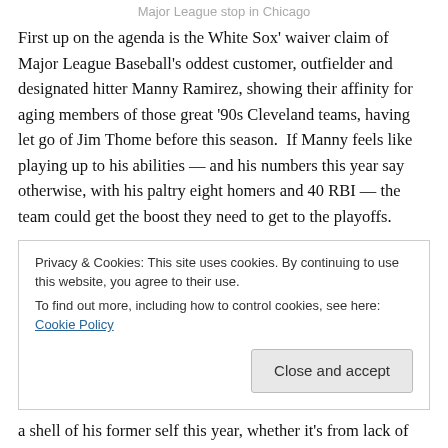Major League stop in Chicago
First up on the agenda is the White Sox' waiver claim of Major League Baseball's oddest customer, outfielder and designated hitter Manny Ramirez, showing their affinity for aging members of those great '90s Cleveland teams, having let go of Jim Thome before this season.  If Manny feels like playing up to his abilities — and his numbers this year say otherwise, with his paltry eight homers and 40 RBI — the team could get the boost they need to get to the playoffs.
Privacy & Cookies: This site uses cookies. By continuing to use this website, you agree to their use.
To find out more, including how to control cookies, see here: Cookie Policy
[Close and accept]
a shell of his former self this year, whether it's from lack of